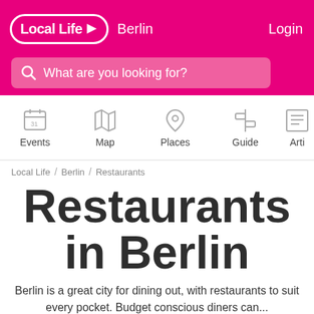Local Life Berlin | Login
What are you looking for?
[Figure (infographic): Navigation icons row: Events (calendar icon), Map (map icon), Places (location pin icon), Guide (signpost icon), Articles (partial, article icon)]
Local Life / Berlin / Restaurants
Restaurants in Berlin
Berlin is a great city for dining out, with restaurants to suit every pocket. Budget conscious diners can...